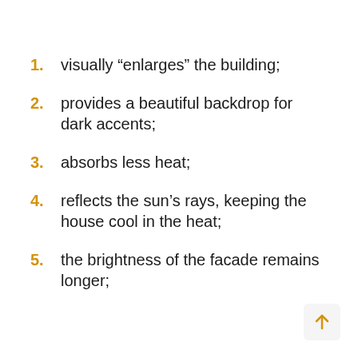1. visually “enlarges” the building;
2. provides a beautiful backdrop for dark accents;
3. absorbs less heat;
4. reflects the sun’s rays, keeping the house cool in the heat;
5. the brightness of the facade remains longer;